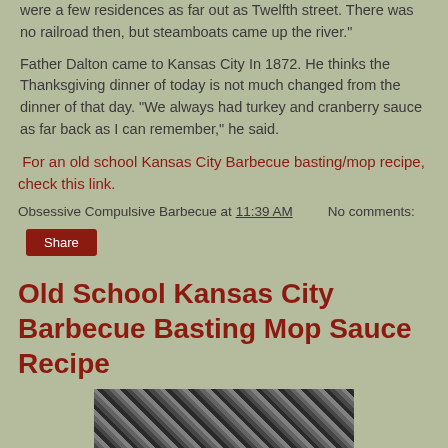were a few residences as far out as Twelfth street. There was no railroad then, but steamboats came up the river."
Father Dalton came to Kansas City In 1872. He thinks the Thanksgiving dinner of today is not much changed from the dinner of that day. "We always had turkey and cranberry sauce as far back as I can remember," he said.
For an old school Kansas City Barbecue basting/mop recipe, check this link.
Obsessive Compulsive Barbecue at 11:39 AM    No comments:
Share
Old School Kansas City Barbecue Basting Mop Sauce Recipe
[Figure (photo): Black and white photograph, partially visible at bottom of page]